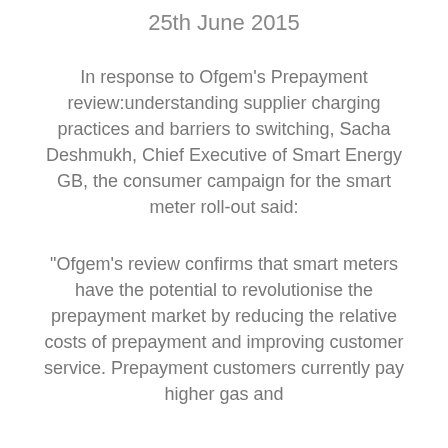25th June 2015
In response to Ofgem’s Prepayment review:understanding supplier charging practices and barriers to switching, Sacha Deshmukh, Chief Executive of Smart Energy GB, the consumer campaign for the smart meter roll-out said:
“Ofgem’s review confirms that smart meters have the potential to revolutionise the prepayment market by reducing the relative costs of prepayment and improving customer service. Prepayment customers currently pay higher gas and